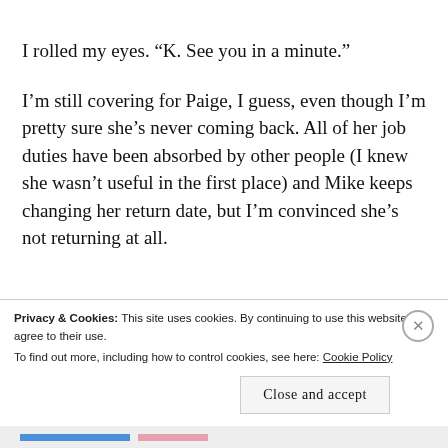I rolled my eyes. “K. See you in a minute.”
I’m still covering for Paige, I guess, even though I’m pretty sure she’s never coming back. All of her job duties have been absorbed by other people (I knew she wasn’t useful in the first place) and Mike keeps changing her return date, but I’m convinced she’s not returning at all.
Privacy & Cookies: This site uses cookies. By continuing to use this website, you agree to their use. To find out more, including how to control cookies, see here: Cookie Policy
Close and accept